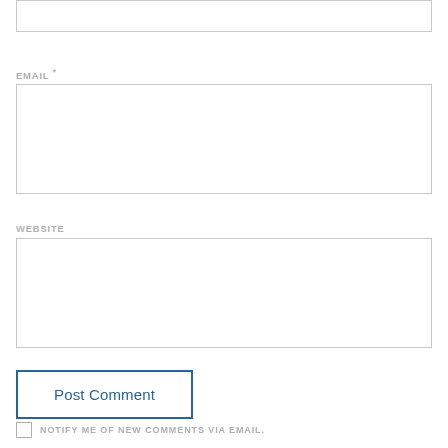[Figure (screenshot): Partial top input box (cropped at top of page)]
EMAIL *
[Figure (screenshot): Email input text field box]
WEBSITE
[Figure (screenshot): Website input text field box]
Post Comment
NOTIFY ME OF NEW COMMENTS VIA EMAIL.